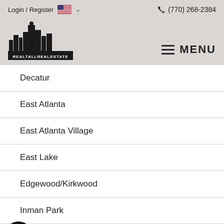Login / Register  (770) 268-2384  RealTallRealEstate  MENU
Decatur
East Atlanta
East Atlanta Village
East Lake
Edgewood/Kirkwood
Inman Park
Lenox-Morningside